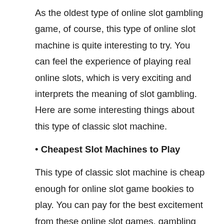As the oldest type of online slot gambling game, of course, this type of online slot machine is quite interesting to try. You can feel the experience of playing real online slots, which is very exciting and interprets the meaning of slot gambling. Here are some interesting things about this type of classic slot machine.
• Cheapest Slot Machines to Play
This type of classic slot machine is cheap enough for online slot game bookies to play. You can pay for the best excitement from these online slot games, gambling at prices that are not large enough so that you can be satisfied more perfectly. The small number of